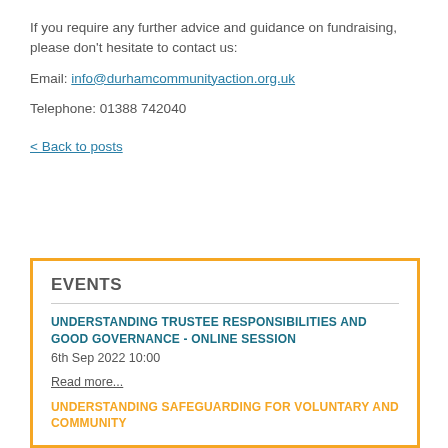If you require any further advice and guidance on fundraising, please don't hesitate to contact us:
Email: info@durhamcommunityaction.org.uk
Telephone: 01388 742040
< Back to posts
EVENTS
UNDERSTANDING TRUSTEE RESPONSIBILITIES AND GOOD GOVERNANCE - ONLINE SESSION
6th Sep 2022 10:00
Read more...
UNDERSTANDING SAFEGUARDING FOR VOLUNTARY AND COMMUNITY